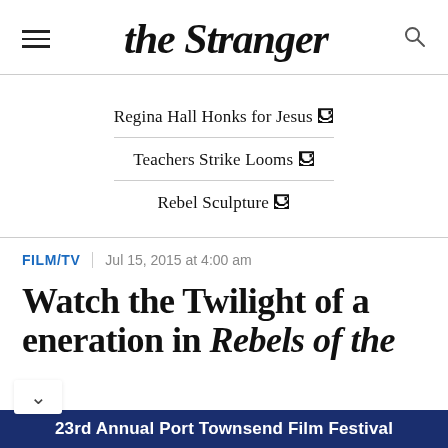the Stranger
Regina Hall Honks for Jesus 🔗
Teachers Strike Looms 🔗
Rebel Sculpture 🔗
FILM/TV | Jul 15, 2015 at 4:00 am
Watch the Twilight of a Generation in Rebels of the
23rd Annual Port Townsend Film Festival